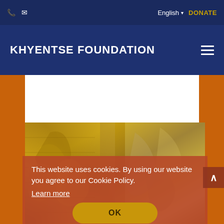Phone | Email | English ▾ | DONATE
KHYENTSE FOUNDATION
[Figure (screenshot): Website screenshot showing Khyentse Foundation page with a golden Buddhist manuscript image and a cookie consent overlay reading 'This website uses cookies. By using our website you agree to our Cookie Policy. Learn more' with an OK button]
This website uses cookies. By using our website you agree to our Cookie Policy.
Learn more
OK